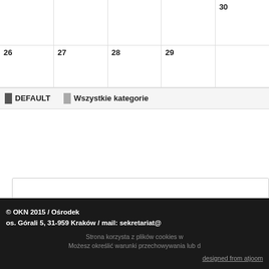|  |  |  |  |  |
| --- | --- | --- | --- | --- |
|  |  |  |  | 30 |
| 26 | 27 | 28 | 29 |  |
DEFAULT   Wszystkie kategorie
© OKN 2015 / Ośrodek os. Górali 5, 31-959 Kraków / mail: sekretariat@ Strona korzysta z plików cookies w Możesz określić warunki przechowywania lub d designed from atjoom